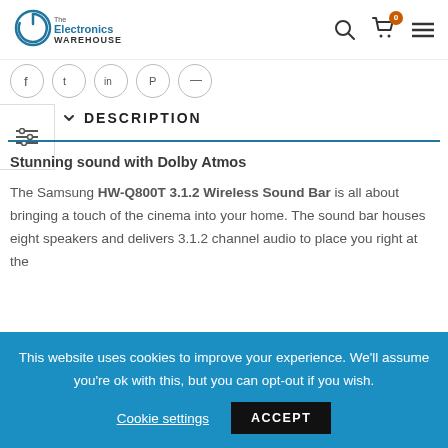The Electronics Warehouse
[Figure (logo): The Electronics Warehouse logo with circular power icon]
DESCRIPTION
Stunning sound with Dolby Atmos
The Samsung HW-Q800T 3.1.2 Wireless Sound Bar is all about bringing a touch of the cinema into your home. The sound bar houses eight speakers and delivers 3.1.2 channel audio to place you right at the
This website uses cookies to improve your experience. We'll assume you're ok with this, but you can opt-out if you wish. Cookie settings ACCEPT